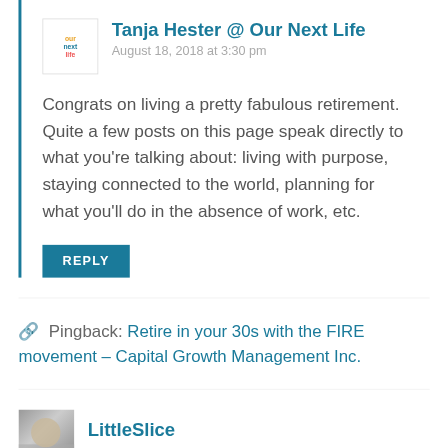Tanja Hester @ Our Next Life — August 18, 2018 at 3:30 pm
Congrats on living a pretty fabulous retirement. Quite a few posts on this page speak directly to what you’re talking about: living with purpose, staying connected to the world, planning for what you’ll do in the absence of work, etc.
REPLY
Pingback: Retire in your 30s with the FIRE movement – Capital Growth Management Inc.
LittleSlice